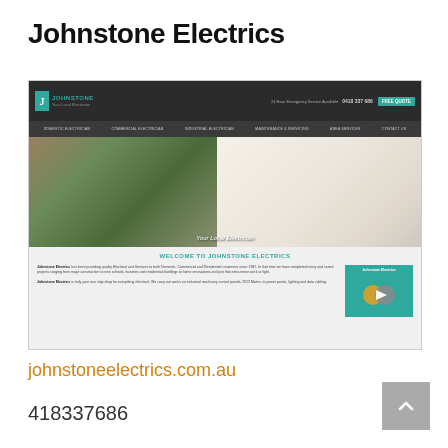Johnstone Electrics
[Figure (screenshot): Screenshot of the Johnstone Electrics website showing navigation bar, hero image of modern living spaces, and welcome section with company description and video thumbnail.]
johnstoneelectrics.com.au
418337686